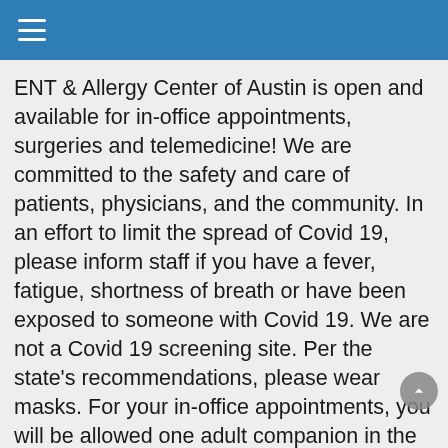≡
ENT & Allergy Center of Austin is open and available for in-office appointments, surgeries and telemedicine! We are committed to the safety and care of patients, physicians, and the community. In an effort to limit the spread of Covid 19, please inform staff if you have a fever, fatigue, shortness of breath or have been exposed to someone with Covid 19. We are not a Covid 19 screening site. Per the state's recommendations, please wear masks. For your in-office appointments, you will be allowed one adult companion in the exam room. Please leave children at home unless the child is a patient. In addition to screening questions, your temperature will be taken at reception. Please be confident and comfortable our staff is trained in sanitation and infection control practices. We are here to serve all your ear, nose, throat and allergy